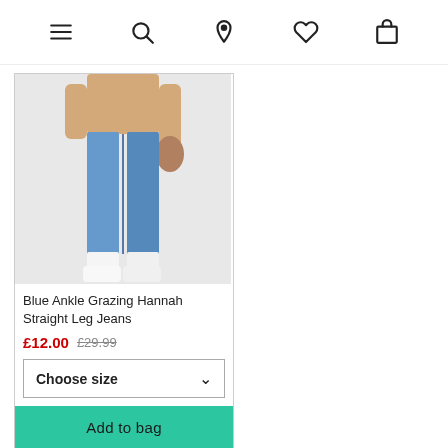Navigation bar with menu, search, location, wishlist, and bag icons
[Figure (photo): Product photo of a person wearing blue ankle grazing Hannah straight leg jeans with a beige top and white sneakers, holding a tan bag]
Blue Ankle Grazing Hannah Straight Leg Jeans
£12.00 £29.99
Choose size
Add to bag
Cookies
Cookies improve our website's performance and help us to deliver ads suited to you,